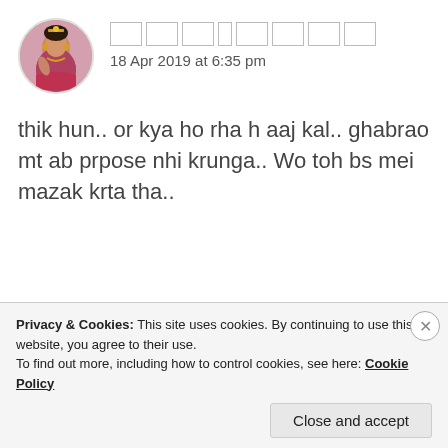[Figure (photo): Circular avatar photo of a woman in traditional Indian attire]
18 Apr 2019 at 6:35 pm
thik hun.. or kya ho rha h aaj kal.. ghabrao mt ab prpose nhi krunga.. Wo toh bs mei mazak krta tha..
Like
[Figure (photo): Circular avatar with brown/dark color, partial view]
ZEALOUS HOMO SAPIENS
Privacy & Cookies: This site uses cookies. By continuing to use this website, you agree to their use.
To find out more, including how to control cookies, see here: Cookie Policy
Close and accept